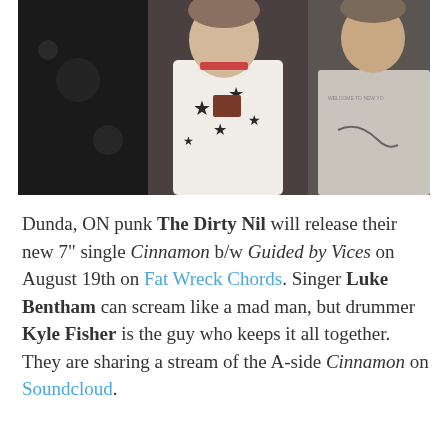[Figure (photo): Band photo of The Dirty Nil showing two young men, one wearing a white t-shirt with stars and one wearing a grey t-shirt, in a dark setting.]
Dunda, ON punk The Dirty Nil will release their new 7" single Cinnamon b/w Guided by Vices on August 19th on Fat Wreck Chords. Singer Luke Bentham can scream like a mad man, but drummer Kyle Fisher is the guy who keeps it all together. They are sharing a stream of the A-side Cinnamon on Soundcloud.